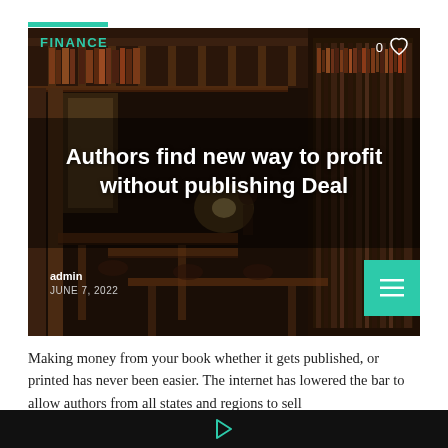FINANCE
[Figure (photo): Library interior with dark wood bookshelves, reading tables and chairs, warm ambient lighting. Overlaid with article title text.]
Authors find new way to profit without publishing Deal
admin
JUNE 7, 2022
Making money from your book whether it gets published, or printed has never been easier. The internet has lowered the bar to allow authors from all states and regions to sell